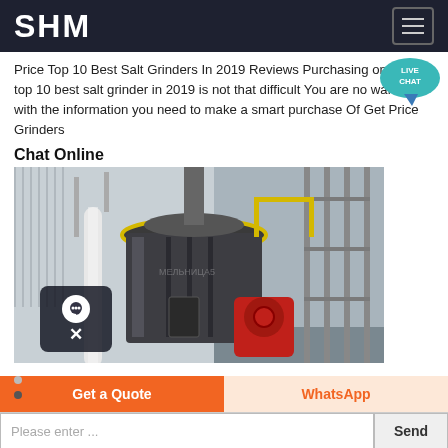SHM
Price Top 10 Best Salt Grinders In 2019 Reviews Purchasing one of the top 10 best salt grinder in 2019 is not that difficult You are no warmed with the information you need to make a smart purchase Of Get Price Grinders
Chat Online
[Figure (photo): Industrial grinding machine inside a factory building, showing a large grey cylindrical mill with a yellow railing platform above, red mechanical components at the base, and metal scaffolding to the right.]
Get a Quote
WhatsApp
Please enter ...
Send